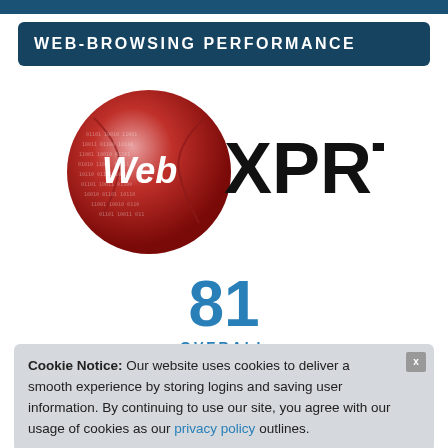WEB-BROWSING PERFORMANCE
[Figure (logo): WebXPRT logo: red globe/ball on the left with white text 'Web', followed by bold black text 'XPRT']
81 OVERALL
Cookie Notice: Our website uses cookies to deliver a smooth experience by storing logins and saving user information. By continuing to use our site, you agree with our usage of cookies as our privacy policy outlines.